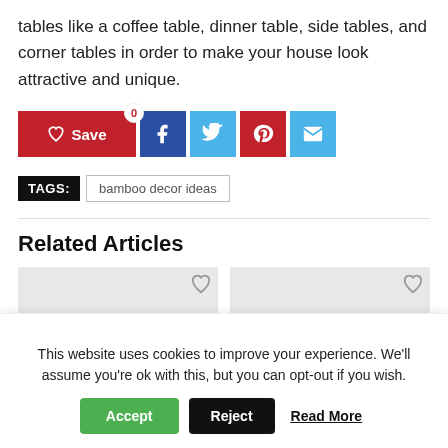tables like a coffee table, dinner table, side tables, and corner tables in order to make your house look attractive and unique.
[Figure (infographic): Social share bar with Save button (red), Facebook (dark blue), Twitter (light blue), Pinterest (red), and Email (light blue) icon buttons. A badge showing '0' appears on the Save button.]
TAGS: bamboo decor ideas
Related Articles
[Figure (infographic): Two gray placeholder thumbnail images with heart (save) icons in the upper right corners.]
This website uses cookies to improve your experience. We'll assume you're ok with this, but you can opt-out if you wish.
Accept   Reject   Read More